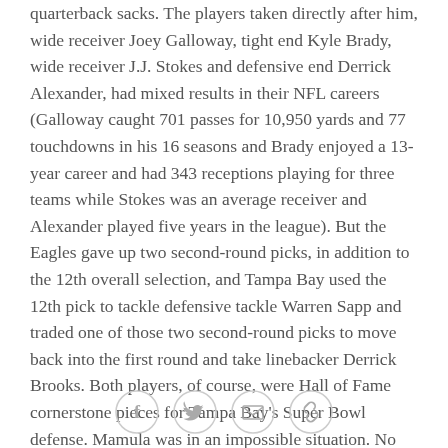quarterback sacks. The players taken directly after him, wide receiver Joey Galloway, tight end Kyle Brady, wide receiver J.J. Stokes and defensive end Derrick Alexander, had mixed results in their NFL careers (Galloway caught 701 passes for 10,950 yards and 77 touchdowns in his 16 seasons and Brady enjoyed a 13-year career and had 343 receptions playing for three teams while Stokes was an average receiver and Alexander played five years in the league). But the Eagles gave up two second-round picks, in addition to the 12th overall selection, and Tampa Bay used the 12th pick to tackle defensive tackle Warren Sapp and traded one of those two second-round picks to move back into the first round and take linebacker Derrick Brooks. Both players, of course, were Hall of Fame cornerstone pieces for Tampa Bay's Super Bowl defense. Mamula was in an impossible situation. No
[Figure (other): Social sharing icons: Facebook, Twitter, Email, Link]